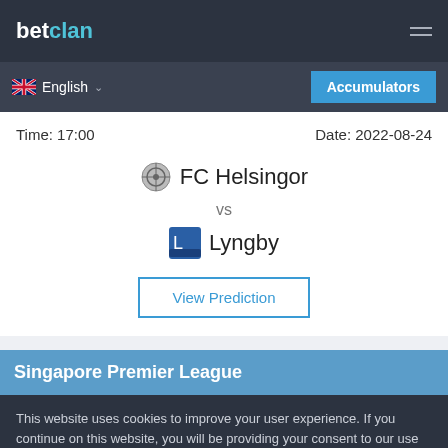betclan
English
Accumulators
Time: 17:00
Date: 2022-08-24
FC Helsingor vs Lyngby
View Prediction
Singapore Premier League
This website uses cookies to improve your user experience. If you continue on this website, you will be providing your consent to our use of cookies.
Info
Accept